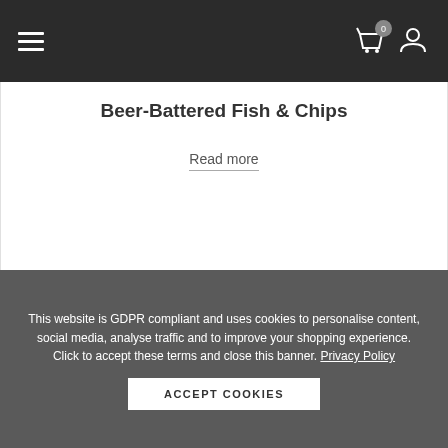Navigation bar with hamburger menu, cart icon (0), and user icon
Beer-Battered Fish & Chips
Read more
This website is GDPR compliant and uses cookies to personalise content, social media, analyse traffic and to improve your shopping experience. Click to accept these terms and close this banner. Privacy Policy
ACCEPT COOKIES